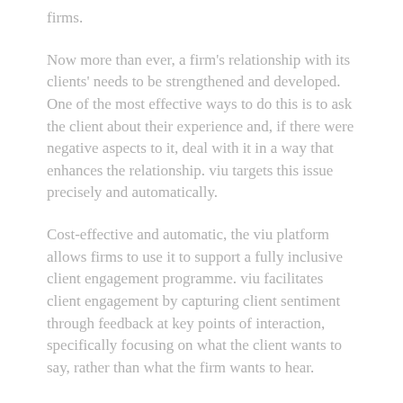firms.
Now more than ever, a firm’s relationship with its clients’ needs to be strengthened and developed. One of the most effective ways to do this is to ask the client about their experience and, if there were negative aspects to it, deal with it in a way that enhances the relationship. viu targets this issue precisely and automatically.
Cost-effective and automatic, the viu platform allows firms to use it to support a fully inclusive client engagement programme. viu facilitates client engagement by capturing client sentiment through feedback at key points of interaction, specifically focusing on what the client wants to say, rather than what the firm wants to hear.
Feedback is delivered directly to those most involved in